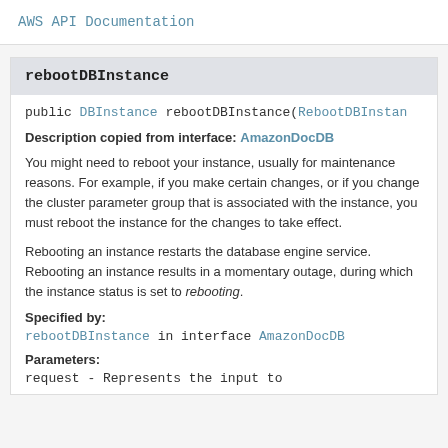AWS API Documentation
rebootDBInstance
public DBInstance rebootDBInstance(RebootDBInstan
Description copied from interface: AmazonDocDB
You might need to reboot your instance, usually for maintenance reasons. For example, if you make certain changes, or if you change the cluster parameter group that is associated with the instance, you must reboot the instance for the changes to take effect.
Rebooting an instance restarts the database engine service. Rebooting an instance results in a momentary outage, during which the instance status is set to rebooting.
Specified by:
rebootDBInstance in interface AmazonDocDB
Parameters:
request - Represents the input to